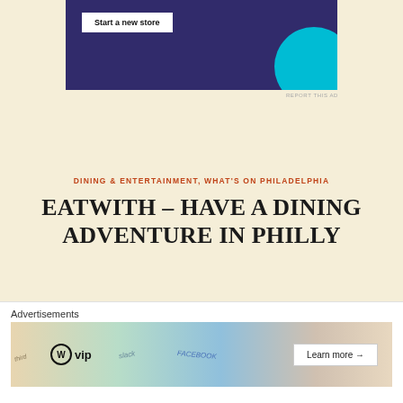[Figure (screenshot): Top advertisement banner with dark purple background, 'Start a new store' button, and cyan circle graphic]
REPORT THIS AD
DINING & ENTERTAINMENT, WHAT'S ON PHILADELPHIA
EATWITH – HAVE A DINING ADVENTURE IN PHILLY
JANUARY 21, 2020   LEAVE A COMMENT
[Figure (photo): Partial photo of green foliage/plants against dark background]
Advertisements
[Figure (screenshot): WordPress VIP advertisement banner with 'Learn more' button]